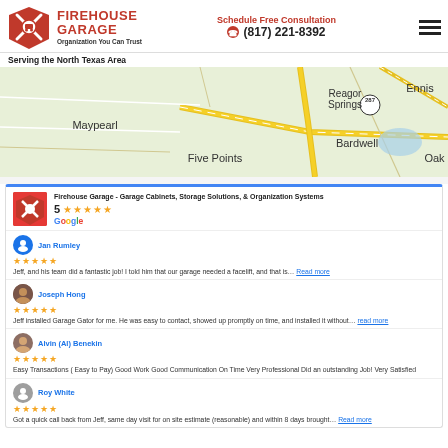Firehouse Garage - Organization You Can Trust | Schedule Free Consultation | (817) 221-8392
Serving the North Texas Area
[Figure (map): Google Maps screenshot showing North Texas area with labels: Maypearl, Reagor Springs, Ennis, Five Points, Bardwell, Oak C, highway 287]
[Figure (screenshot): Google review widget showing Firehouse Garage rated 5 stars on Google]
Firehouse Garage - Garage Cabinets, Storage Solutions, & Organization Systems
5 ★★★★★ Google
Jan Rumley ★★★★★
Jeff, and his team did a fantastic job! I told him that our garage needed a facelift, and that is... Read more
Joseph Hong ★★★★★
Jeff installed Garage Gator for me. He was easy to contact, showed up promptly on time, and installed it without... Read more
Alvin (Al) Benekin ★★★★★
Easy Transactions ( Easy to Pay) Good Work Good Communication On Time Very Professional Did an outstanding Job! Very Satisfied
Roy White ★★★★★
Got a quick call back from Jeff, same day visit for on site estimate (reasonable) and within 8 days brought... Read more